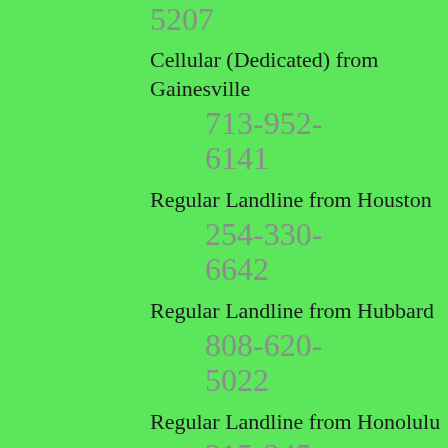5207
Cellular (Dedicated) from Gainesville
713-952-6141
Regular Landline from Houston
254-330-6642
Regular Landline from Hubbard
808-620-5022
Regular Landline from Honolulu
315-245-5536
Regular Landline from Camden